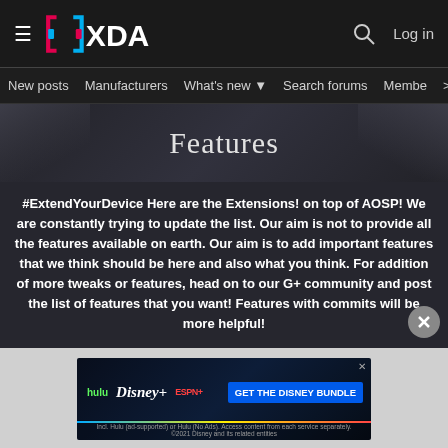≡ XDA   🔍 Log in
New posts   Manufacturers   What's new ▼   Search forums   Members >
Features
#ExtendYourDevice Here are the Extensions! on top of AOSP! We are constantly trying to update the list. Our aim is not to provide all the features available on earth. Our aim is to add important features that we think should be here and also what you think. For addition of more tweaks or features, head on to our G+ community and post the list of features that you want! Features with commits will be more helpful!
[Figure (screenshot): Disney Bundle advertisement banner showing Hulu, Disney+, and ESPN+ logos with a 'GET THE DISNEY BUNDLE' call-to-action button and small print text about terms.]